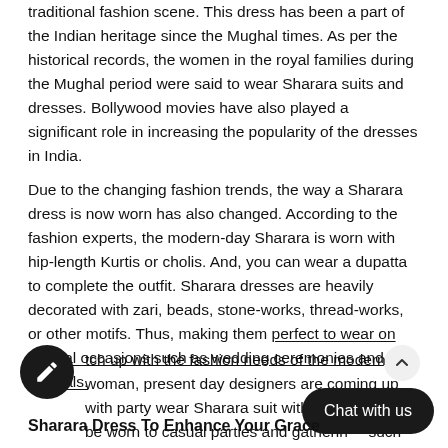traditional fashion scene. This dress has been a part of the Indian heritage since the Mughal times. As per the historical records, the women in the royal families during the Mughal period were said to wear Sharara suits and dresses. Bollywood movies have also played a significant role in increasing the popularity of the dresses in India.
Due to the changing fashion trends, the way a Sharara dress is now worn has also changed. According to the fashion experts, the modern-day Sharara is worn with hip-length Kurtis or cholis. And, you can wear a dupatta to complete the outfit. Sharara dresses are heavily decorated with zari, beads, stone-works, thread-works, or other motifs. Thus, making them perfect to wear on special occasions such as wedding ceremonies and festivals.
To keep up with the fashion needs of the modern woman, present day designers are coming up with party wear Sharara suit with simple designs that can be worn to casual parties and gatherings suitable for such events.
Sharara Dress To Enhance Your Grace